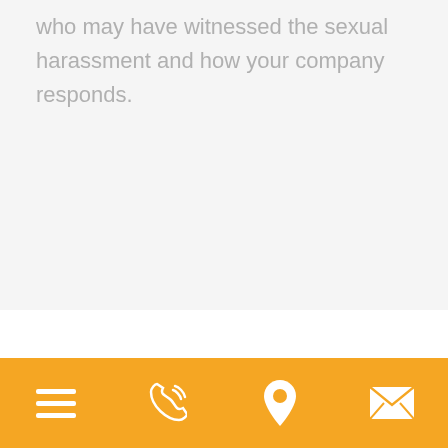who may have witnessed the sexual harassment and how your company responds.
[Figure (infographic): Mobile app footer navigation bar with four icons on an orange/amber background: hamburger menu (three horizontal lines), phone/call icon, location pin icon, and envelope/mail icon]